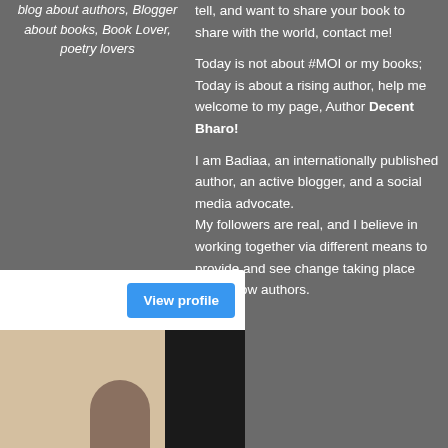blog about authors, Blogger about books, Book Lover, poetry lovers
tell, and want to share your book to share with the world, contact me!
Today is not about #MOI or my books; Today is about a rising author, help me welcome to my page, Author Decent Bharo!
I am Badiaa, an internationally published author, an active blogger, and a social media advocate. My followers are real, and I believe in working together via different means to provide and see change taking place with fellow authors.
[Figure (screenshot): Instagram profile card for badiaahir... with 2,436 followers and a View profile button, followed by a video thumbnail showing a person in a room]